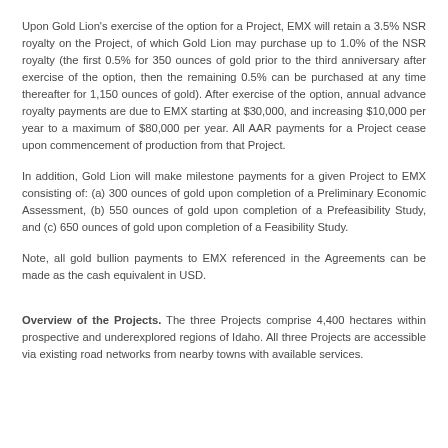Upon Gold Lion's exercise of the option for a Project, EMX will retain a 3.5% NSR royalty on the Project, of which Gold Lion may purchase up to 1.0% of the NSR royalty (the first 0.5% for 350 ounces of gold prior to the third anniversary after exercise of the option, then the remaining 0.5% can be purchased at any time thereafter for 1,150 ounces of gold). After exercise of the option, annual advance royalty payments are due to EMX starting at $30,000, and increasing $10,000 per year to a maximum of $80,000 per year. All AAR payments for a Project cease upon commencement of production from that Project.
In addition, Gold Lion will make milestone payments for a given Project to EMX consisting of: (a) 300 ounces of gold upon completion of a Preliminary Economic Assessment, (b) 550 ounces of gold upon completion of a Prefeasibility Study, and (c) 650 ounces of gold upon completion of a Feasibility Study.
Note, all gold bullion payments to EMX referenced in the Agreements can be made as the cash equivalent in USD.
Overview of the Projects. The three Projects comprise 4,400 hectares within prospective and underexplored regions of Idaho. All three Projects are accessible via existing road networks from nearby towns with available services.